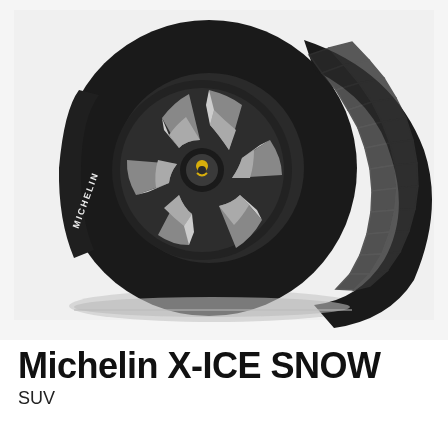[Figure (photo): Michelin X-ICE SNOW winter tire with dark multi-spoke alloy wheel, shown at an angle. The tire has a distinctive herringbone/chevron tread pattern on the outer face and block tread elements. Background is light gray/white.]
Michelin X-ICE SNOW
SUV